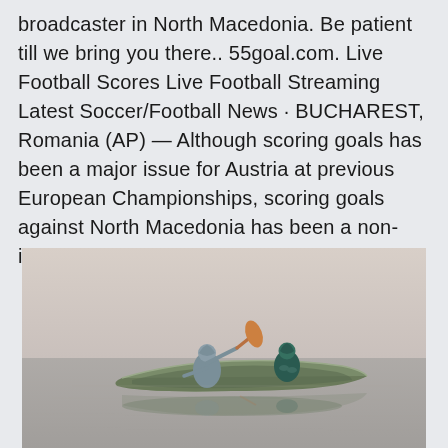broadcaster in North Macedonia. Be patient till we bring you there.. 55goal.com. Live Football Scores Live Football Streaming Latest Soccer/Football News · BUCHAREST, Romania (AP) — Although scoring goals has been a major issue for Austria at previous European Championships, scoring goals against North Macedonia has been a non-issue in recent years.
[Figure (photo): Two people in a canoe on a calm misty lake. One person is paddling with an orange oar, both are wearing hooded jackets. The canoe and paddlers are reflected in the still water.]